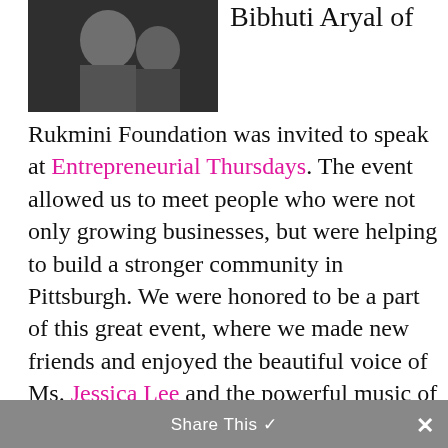[Figure (photo): Black and white photograph of people at an event, partially visible at top of page]
Bibhuti Aryal of Rukmini Foundation was invited to speak at Entrepreneurial Thursdays. The event allowed us to meet people who were not only growing businesses, but were helping to build a stronger community in Pittsburgh. We were honored to be a part of this great event, where we made new friends and enjoyed the beautiful voice of Ms. Jessica Lee and the powerful music of talented local jazz musicians. The foundation seeks to strengthen alliances with local
Share This ✓